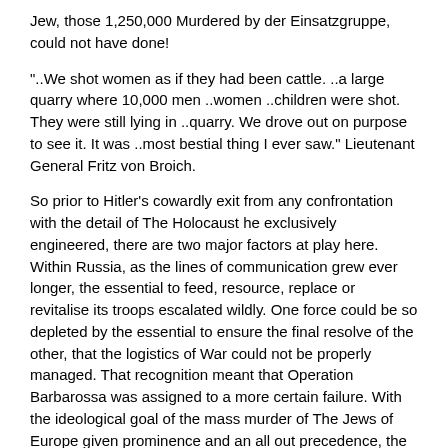Jew, those 1,250,000 Murdered by der Einsatzgruppe, could not have done!
"..We shot women as if they had been cattle. ..a large quarry where 10,000 men ..women ..children were shot. They were still lying in ..quarry. We drove out on purpose to see it. It was ..most bestial thing I ever saw." Lieutenant General Fritz von Broich.
So prior to Hitler’s cowardly exit from any confrontation with the detail of The Holocaust he exclusively engineered, there are two major factors at play here. Within Russia, as the lines of communication grew ever longer, the essential to feed, resource, replace or revitalise its troops escalated wildly. One force could be so depleted by the essential to ensure the final resolve of the other, that the logistics of War could not be properly managed. That recognition meant that Operation Barbarossa was assigned to a more certain failure. With the ideological goal of the mass murder of The Jews of Europe given prominence and an all out precedence, the gradual retreat from Russia was secured. It cannot simply escape the attention of history that such manpower, and this was as many as six or seven or even ten divisions of whom had been diverted from the War effort in Russia, could be countenanced by other than Hitler.
"..this best instrument of ..art of war stood at ..disposal of a state leadership with a bold foreign policy." Adolf Hitler.
That this resource, which was fully brought to bear upon those Jews that Hitler demanded to be eliminated, cannot be explained away for missing